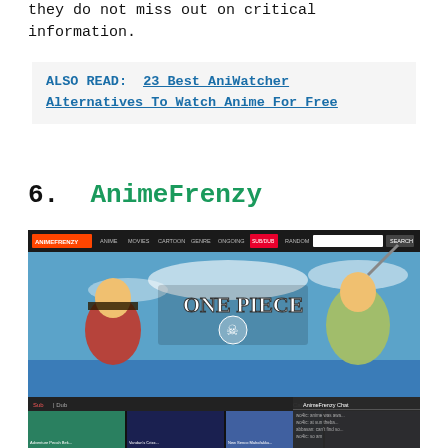they do not miss out on critical information.
ALSO READ:  23 Best AniWatcher Alternatives To Watch Anime For Free
6.  AnimeFrenzy
[Figure (screenshot): Screenshot of the AnimeFrenzy website showing the homepage with a One Piece banner, navigation bar with categories like Anime, Movies, Cartoon, Genre, Ongoing, Sub/Dub, Random, a search bar, thumbnail grid of anime episodes, and an AnimeFrenzy Chat sidebar.]